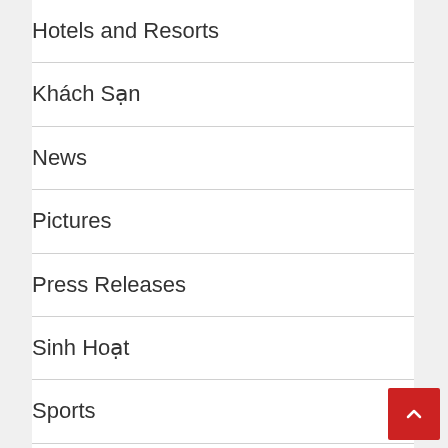Hotels and Resorts
Khách Sạn
News
Pictures
Press Releases
Sinh Hoạt
Sports
Thể Thao
Thông Báo